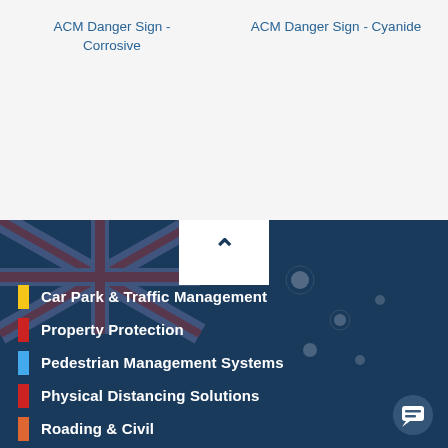ACM Danger Sign - Corrosive
ACM Danger Sign - Cyanide
[Figure (other): Dark blue background with Australian flag watermark overlay. White chevron/up arrow in a white box at top center. Navigation menu with colored bars: Car Park & Traffic Management (yellow), Property Protection (red), Pedestrian Management Systems (light blue), Physical Distancing Solutions (red), Roading & Civil (orange). Chat bubble icon at bottom right.]
Car Park & Traffic Management
Property Protection
Pedestrian Management Systems
Physical Distancing Solutions
Roading & Civil